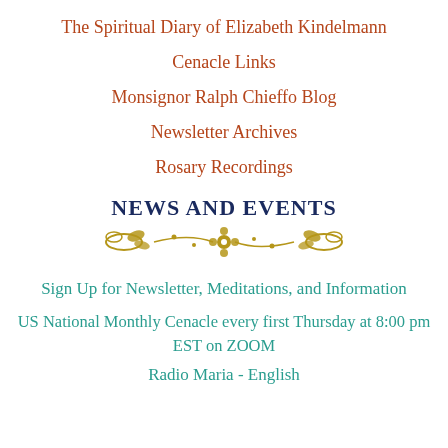The Spiritual Diary of Elizabeth Kindelmann
Cenacle Links
Monsignor Ralph Chieffo Blog
Newsletter Archives
Rosary Recordings
NEWS AND EVENTS
[Figure (illustration): Decorative floral ornament divider in gold/brown color]
Sign Up for Newsletter, Meditations, and Information
US National Monthly Cenacle every first Thursday at 8:00 pm EST on ZOOM
Radio Maria - English